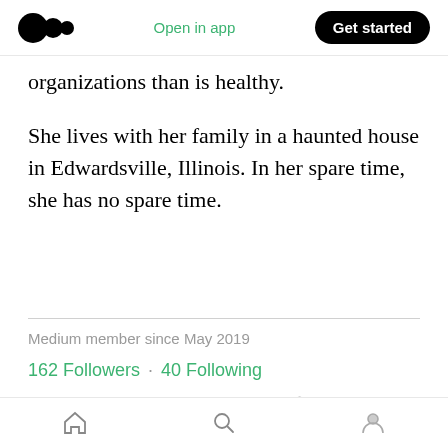Open in app | Get started
organizations than is healthy.
She lives with her family in a haunted house in Edwardsville, Illinois. In her spare time, she has no spare time.
Medium member since May 2019
162 Followers · 40 Following
Connect with Elizabeth Donald
Home | Search | Profile